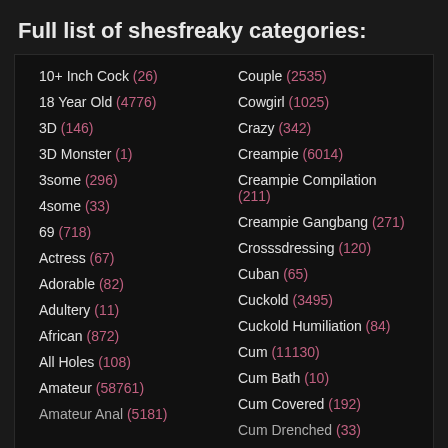Full list of shesfreaky categories:
10+ Inch Cock (26)
18 Year Old (4776)
3D (146)
3D Monster (1)
3some (296)
4some (33)
69 (718)
Actress (67)
Adorable (82)
Adultery (11)
African (872)
All Holes (108)
Amateur (58761)
Couple (2535)
Cowgirl (1025)
Crazy (342)
Creampie (6014)
Creampie Compilation (211)
Creampie Gangbang (271)
Crosssdressing (120)
Cuban (65)
Cuckold (3495)
Cuckold Humiliation (84)
Cum (11130)
Cum Bath (10)
Cum Covered (192)